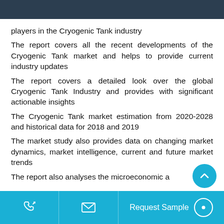players in the Cryogenic Tank industry
The report covers all the recent developments of the Cryogenic Tank market and helps to provide current industry updates
The report covers a detailed look over the global Cryogenic Tank Industry and provides with significant actionable insights
The Cryogenic Tank market estimation from 2020-2028 and historical data for 2018 and 2019
The market study also provides data on changing market dynamics, market intelligence, current and future market trends
The report also analyses the microeconomic a…
Request Sample